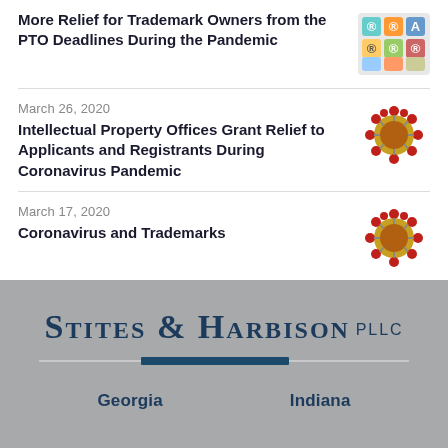More Relief for Trademark Owners from the PTO Deadlines During the Pandemic
March 26, 2020
Intellectual Property Offices Grant Relief to Applicants and Registrants During Coronavirus Pandemic
March 17, 2020
Coronavirus and Trademarks
[Figure (logo): Stites & Harbison PLLC law firm logo on gray background with decorative divider bar]
Georgia        Indiana